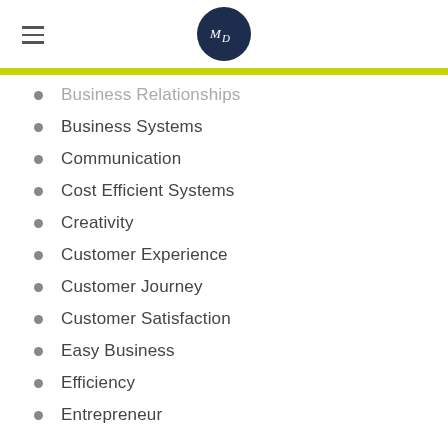MD logo
Business Relationships
Business Systems
Communication
Cost Efficient Systems
Creativity
Customer Experience
Customer Journey
Customer Satisfaction
Easy Business
Efficiency
Entrepreneur